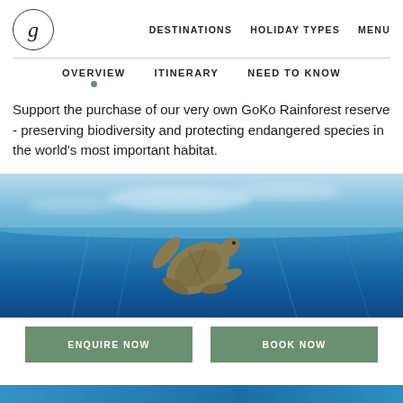g | DESTINATIONS  HOLIDAY TYPES  MENU
OVERVIEW   ITINERARY   NEED TO KNOW
Support the purchase of our very own GoKo Rainforest reserve - preserving biodiversity and protecting endangered species in the world's most important habitat.
[Figure (photo): Underwater photo of a sea turtle swimming upward toward the ocean surface, with blue water and sky visible above.]
ENQUIRE NOW   BOOK NOW